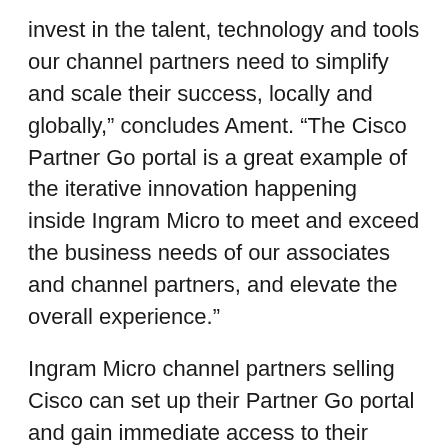invest in the talent, technology and tools our channel partners need to simplify and scale their success, locally and globally,” concludes Ament. “The Cisco Partner Go portal is a great example of the iterative innovation happening inside Ingram Micro to meet and exceed the business needs of our associates and channel partners, and elevate the overall experience.”
Ingram Micro channel partners selling Cisco can set up their Partner Go portal and gain immediate access to their Ingram Micro / Cisco business by clicking here.
For more information about Ingram Micro visit www.ingrammicro.com